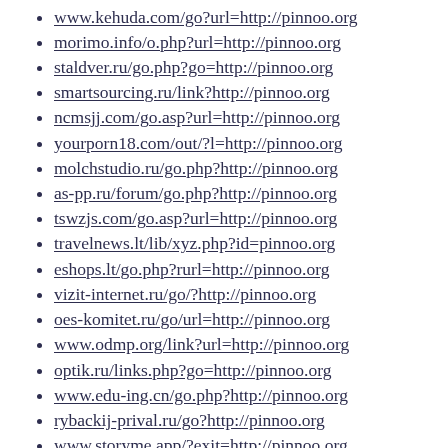www.kehuda.com/go?url=http://pinnoo.org
morimo.info/o.php?url=http://pinnoo.org
staldver.ru/go.php?go=http://pinnoo.org
smartsourcing.ru/link?http://pinnoo.org
ncmsjj.com/go.asp?url=http://pinnoo.org
yourporn18.com/out/?l=http://pinnoo.org
molchstudio.ru/go.php?http://pinnoo.org
as-pp.ru/forum/go.php?http://pinnoo.org
tswzjs.com/go.asp?url=http://pinnoo.org
travelnews.lt/lib/xyz.php?id=pinnoo.org
eshops.lt/go.php?rurl=http://pinnoo.org
vizit-internet.ru/go/?http://pinnoo.org
oes-komitet.ru/go/url=http://pinnoo.org
www.odmp.org/link?url=http://pinnoo.org
optik.ru/links.php?go=http://pinnoo.org
www.edu-ing.cn/go.php?http://pinnoo.org
rybackij-prival.ru/go?http://pinnoo.org
www.storyme.app/?exit=http://pinnoo.org
yvolen.ru/url.php?url=http://pinnoo.org